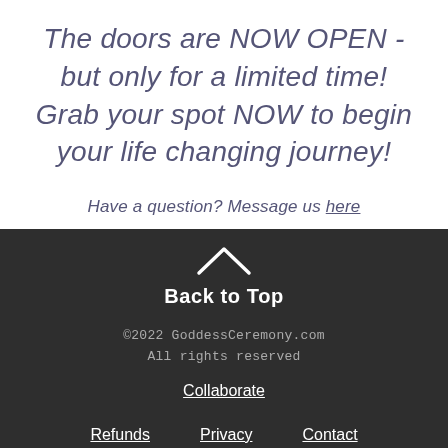The doors are NOW OPEN - but only for a limited time! Grab your spot NOW to begin your life changing journey!
Have a question? Message us here
Back to Top
©2022 GoddessCeremony.com All rights reserved
Collaborate
Refunds   Privacy   Contact